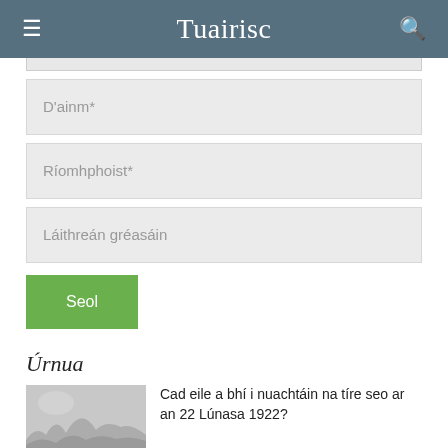Tuairisc
D'ainm*
Ríomhphoist*
Láithreán gréasáin
Seol
Úrnua
Cad eile a bhí i nuachtáin na tíre seo ar an 22 Lúnasa 1922?